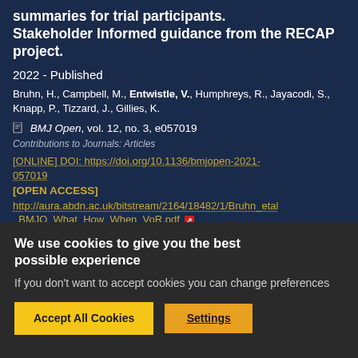summaries for trial participants. Stakeholder Informed guidance from the RECAP project.
2022 - Published
Bruhn, H., Campbell, M., Entwistle, V., Humphreys, R., Jayacodi, S., Knapp, P., Tizzard, J., Gillies, K.
BMJ Open, vol. 12, no. 3, e057019
Contributions to Journals: Articles
[ONLINE] DOI: https://doi.org/10.1136/bmjopen-2021-057019
[OPEN ACCESS]
http://aura.abdn.ac.uk/bitstream/2164/18482/1/Bruhn_etal_BMJO_What_How_When_VoR.pdf
We use cookies to give you the best possible experience
If you don't want to accept cookies you can change preferences
Accept All Cookies
Settings